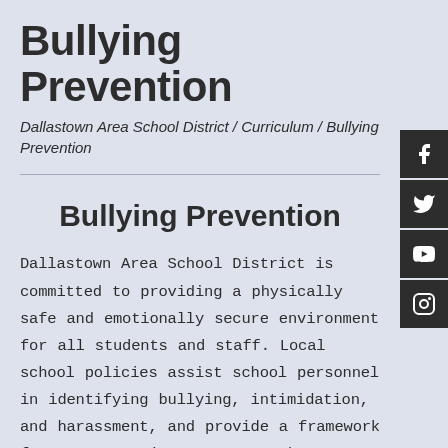Bullying Prevention
Dallastown Area School District / Curriculum / Bullying Prevention
Bullying Prevention
Dallastown Area School District is committed to providing a physically safe and emotionally secure environment for all students and staff. Local school policies assist school personnel in identifying bullying, intimidation, and harassment, and provide a framework for an appropriate response that reinforces positive conduct. The district defines positive behaviors as those which evoke non-violence, cooperation, teamwork,